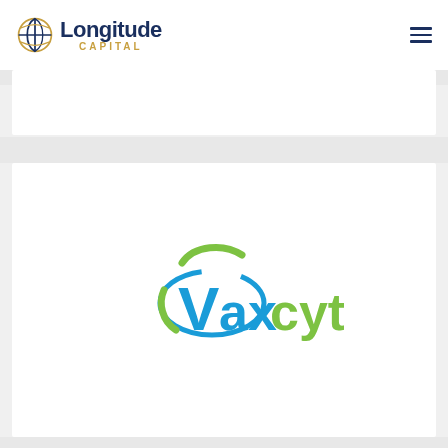[Figure (logo): Longitude Capital logo: globe icon in gold and navy blue, with 'Longitude' in navy bold text and 'CAPITAL' in gold spaced capitals beneath]
[Figure (logo): Vaxcyte company logo: 'Vax' in blue and 'cyte' in green with a blue and green orbital ellipse graphic around the 'V']